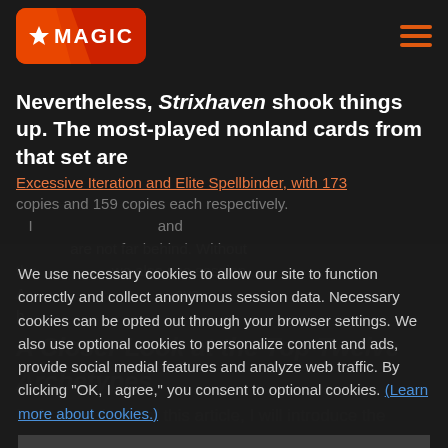Magic: The Gathering – site header with logo and hamburger menu
Nevertheless, Strixhaven shook things up. The most-played nonland cards from that set are
Excessive Iteration and Elite Spellbinder, with 173 copies and 159 copies each respectively.
We use necessary cookies to allow our site to function correctly and collect anonymous session data. Necessary cookies can be opted out through your browser settings. We also use optional cookies to personalize content and ads, provide social medial features and analyze web traffic. By clicking “OK, I agree,” you consent to optional cookies. (Learn more about cookies.)
OK, I agree
No, thanks
A Closer Look at the Top Twelve Archetypes
In the remainder of this article, I will introduce the